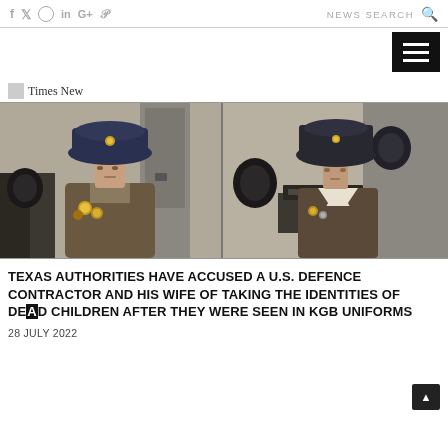f  𝕏  ○  in  G+  𝒫    NEWS SEARCH 🔍
[Figure (photo): Two individuals wearing KGB military uniforms with dark fur hats, medals on chest, standing in what appears to be a room with electronic equipment in the background. Side-by-side comparison photos.]
TEXAS AUTHORITIES HAVE ACCUSED A U.S. DEFENCE CONTRACTOR AND HIS WIFE OF TAKING THE IDENTITIES OF DEAD CHILDREN AFTER THEY WERE SEEN IN KGB UNIFORMS
28 JULY 2022